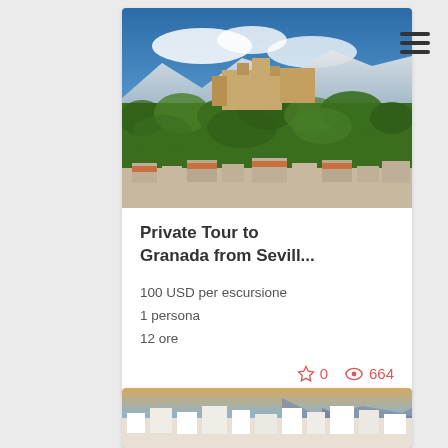[Figure (photo): Aerial view of the Alhambra fortress and palace complex in Granada, Spain, surrounded by dense green trees with snow-capped mountains in the background and city rooftops in the foreground]
Private Tour to Granada from Sevill...
100 USD per escursione
1 persona
12 ore
☆ 0   👁 664
[Figure (photo): Partial view of a white-washed hillside town in Andalusia, Spain, with mountains in the background]